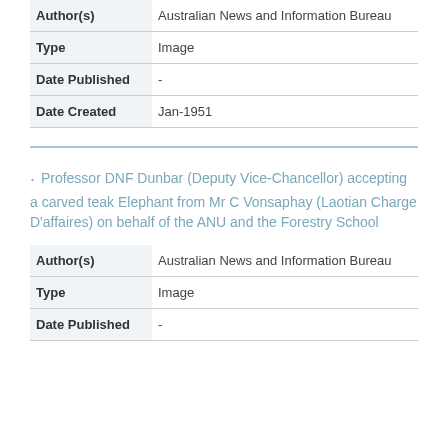| Field | Value |
| --- | --- |
| Author(s) | Australian News and Information Bureau |
| Type | Image |
| Date Published | - |
| Date Created | Jan-1951 |
Professor DNF Dunbar (Deputy Vice-Chancellor) accepting a carved teak Elephant from Mr C Vonsaphay (Laotian Charge D'affaires) on behalf of the ANU and the Forestry School
| Field | Value |
| --- | --- |
| Author(s) | Australian News and Information Bureau |
| Type | Image |
| Date Published | - |